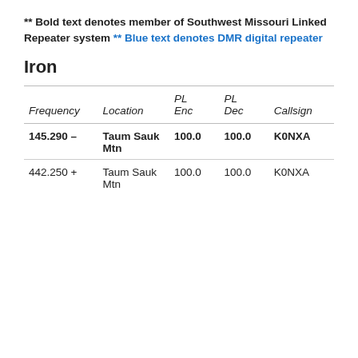** Bold text denotes member of Southwest Missouri Linked Repeater system ** Blue text denotes DMR digital repeater
Iron
| Frequency | Location | PL Enc | PL Dec | Callsign |
| --- | --- | --- | --- | --- |
| 145.290 – | Taum Sauk Mtn | 100.0 | 100.0 | K0NXA |
| 442.250 + | Taum Sauk Mtn | 100.0 | 100.0 | K0NXA |